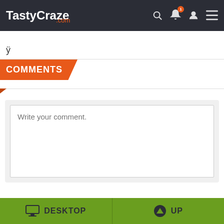TastyCraze.com
ÿ
COMMENTS
Write your comment.
DESKTOP  UP